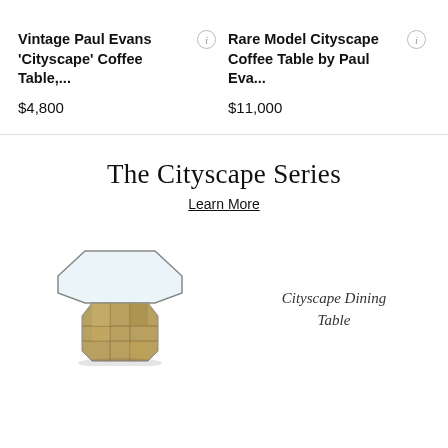Vintage Paul Evans 'Cityscape' Coffee Table,...
$4,800
Rare Model Cityscape Coffee Table by Paul Eva...
$11,000
The Cityscape Series
Learn More
[Figure (photo): A Cityscape Dining Table with a hexagonal glass top and a patchwork gold/bronze base]
Cityscape Dining Table